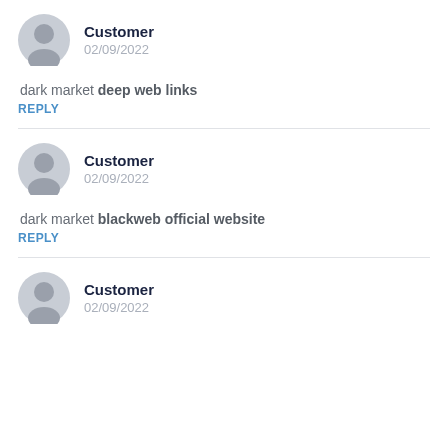Customer
02/09/2022
dark market deep web links
REPLY
Customer
02/09/2022
dark market blackweb official website
REPLY
Customer
02/09/2022